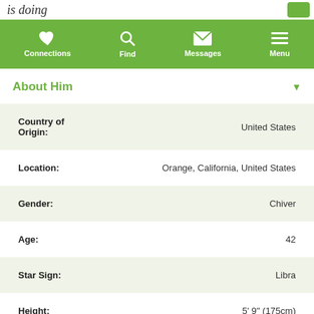is doing
[Figure (screenshot): Green navigation bar with icons for Connections, Find, Messages, Menu]
About Him
| Field | Value |
| --- | --- |
| Country of Origin: | United States |
| Location: | Orange, California, United States |
| Gender: | Chiver |
| Age: | 42 |
| Star Sign: | Libra |
| Height: | 5' 9" (175cm) |